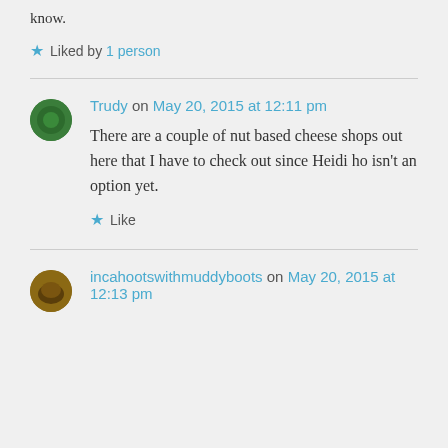know.
Liked by 1 person
Trudy on May 20, 2015 at 12:11 pm
There are a couple of nut based cheese shops out here that I have to check out since Heidi ho isn’t an option yet.
Like
incahootswithmuddyboots on May 20, 2015 at 12:13 pm